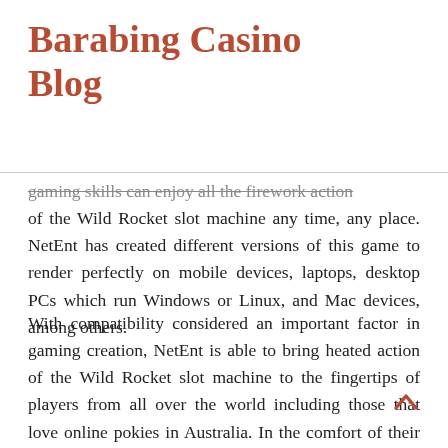Barabing Casino Blog
gaming skills can enjoy all the firework action of the Wild Rocket slot machine any time, any place. NetEnt has created different versions of this game to render perfectly on mobile devices, laptops, desktop PCs which run Windows or Linux, and Mac devices, among others.
With compatibility considered an important factor in gaming creation, NetEnt is able to bring heated action of the Wild Rocket slot machine to the fingertips of players from all over the world including those that love online pokies in Australia. In the comfort of their own